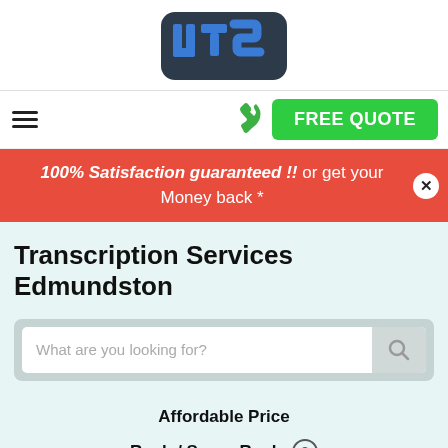[Figure (logo): UTS logo — dark blue rounded rectangle background with white/blue letters 'uts' in a stylized font]
[Figure (infographic): Navigation bar with hamburger menu icon on the left, green phone icon in the center-right, and a green FREE QUOTE button on the right]
100% Satisfaction guaranteed !! or get your Money back *
Transcription Services Edmundston
[Figure (other): Search bar with placeholder 'What are you looking for?' and a search icon button]
Affordable Price
Rush / Super Rush
Secure & Confidential